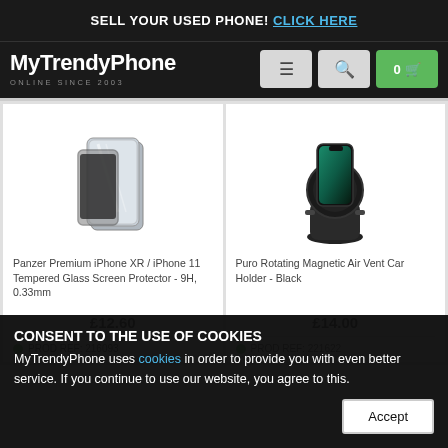SELL YOUR USED PHONE! CLICK HERE
[Figure (logo): MyTrendyPhone logo with tagline ONLINE SINCE 2003]
[Figure (photo): Panzer Premium iPhone XR / iPhone 11 Tempered Glass Screen Protector product image]
Panzer Premium iPhone XR / iPhone 11 Tempered Glass Screen Protector - 9H, 0.33mm
£12.60
PROD REF: 216093
[Figure (photo): Puro Rotating Magnetic Air Vent Car Holder - Black product image]
Puro Rotating Magnetic Air Vent Car Holder - Black
£14.00
PROD REF: 221622
CONSENT TO THE USE OF COOKIES
MyTrendyPhone uses cookies in order to provide you with even better service. If you continue to use our website, you agree to this.